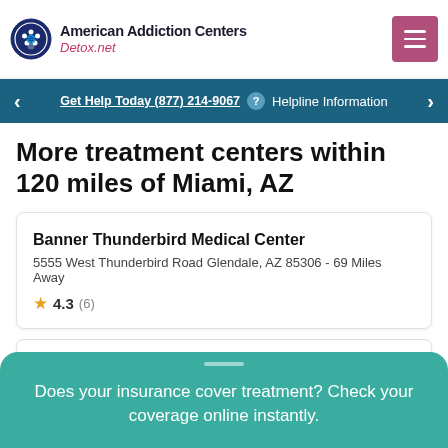American Addiction Centers Detox.net
Get Help Today (877) 214-9067 ? Helpline Information
More treatment centers within 120 miles of Miami, AZ
Banner Thunderbird Medical Center
5555 West Thunderbird Road Glendale, AZ 85306 - 69 Miles Away
★ 4.3 (6)
Sierra Tucson
Does your insurance cover treatment? Check your coverage online instantly.